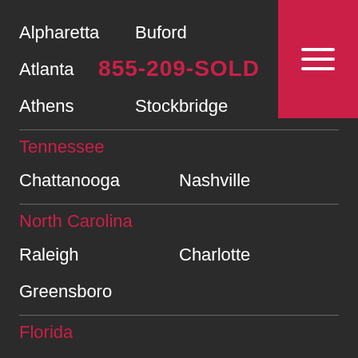Alpharetta
Buford
Atlanta
855-209-SOLD
Marietta
Athens
Stockbridge
Tennessee
Chattanooga
Nashville
North Carolina
Raleigh
Charlotte
Greensboro
Florida
Orlando
Tampa
Jacksonville